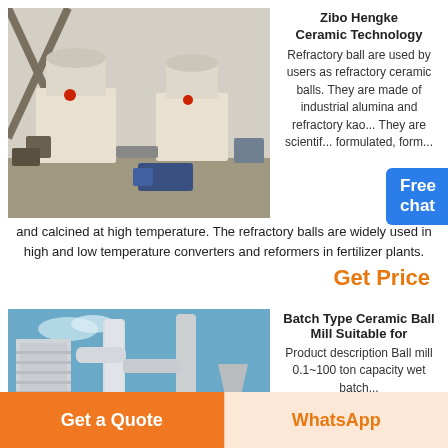[Figure (photo): Industrial grinding machines (vertical roller mills) in a warehouse, large white cylindrical equipment on metal frames]
Zibo Hengke Ceramic Technology
Refractory ball are used by users as refractory ceramic balls. They are made of industrial alumina and refractory kao... They are scientif... formulated, form... and calcined at high temperature. The refractory balls are widely used in high and low temperature converters and reformers in fertilizer plants.
Get Price
[Figure (photo): Industrial dust collection or filtration equipment outside against blue sky, white cylindrical and rectangular structures with pipes]
Batch Type Ceramic Ball Mill Suitable for
Product description Ball mill 0.1~100 ton capacity wet batch...
Get a Quote
WhatsApp